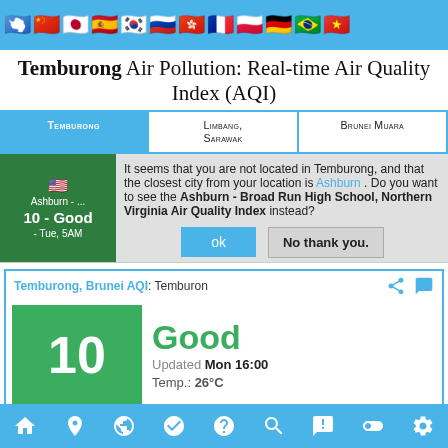[Figure (infographic): Flag icon bar with flags of multiple countries including USA, China, Japan, Spain, South Korea, Russia, Hong Kong, France, Poland, Germany, Brazil, Vietnam on a blue background]
Temburong Air Pollution: Real-time Air Quality Index (AQI)
| Temburong | Limbang, Sarawak | Brunei Muara |
| --- | --- | --- |
Ashburn - ... 10 - Good - Tue, 5AM | It seems that you are not located in Temburong, and that the closest city from your location is Ashburn. Do you want to see the Ashburn - Broad Run High School, Northern Virginia Air Quality Index instead?
ok | No thank you.
Temburong, Brunei AQI: Temburon
10 | Good | Updated Mon 16:00 | Temp.: 26°C
Current Past 48 hours data | Min 1
[Figure (screenshot): Bottom navigation bar with icons for home, location, globe, mask, FAQ, search, person, link, and settings]